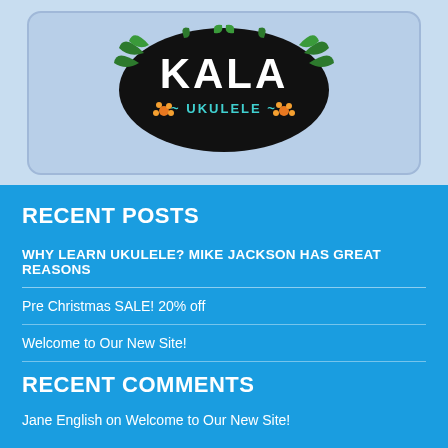[Figure (logo): Kala Ukulele logo — black oval with 'KALA' in large white letters and '~ UKULELE ~' below, surrounded by tropical palm leaves and orange flowers]
RECENT POSTS
WHY LEARN UKULELE? MIKE JACKSON HAS GREAT REASONS
Pre Christmas SALE! 20% off
Welcome to Our New Site!
RECENT COMMENTS
Jane English on Welcome to Our New Site!